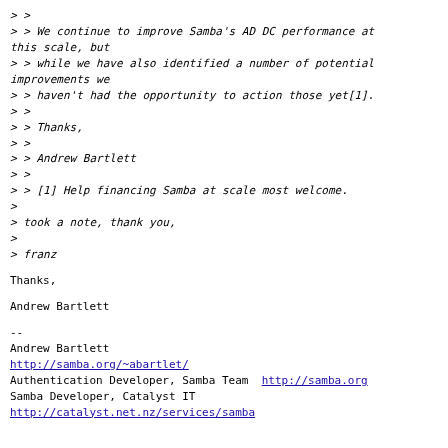> >
> > We continue to improve Samba's AD DC performance at this scale, but
> > while we have also identified a number of potential improvements we
> > haven't had the opportunity to action those yet[1].
> >
> > Thanks,
> >
> > Andrew Bartlett
> >
> > [1] Help financing Samba at scale most welcome.
>
> took a note, thank you,
>
> franz
Thanks,
Andrew Bartlett
--
Andrew Bartlett
http://samba.org/~abartlet/
Authentication Developer, Samba Team  http://samba.org
Samba Developer, Catalyst IT
http://catalyst.net.nz/services/samba